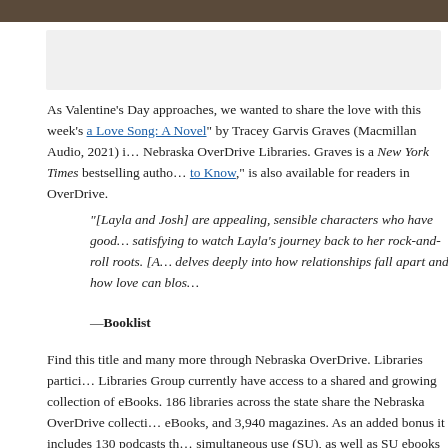[Figure (photo): Dark textured image strip at top of page]
[Figure (other): Gray placeholder box below top image]
As Valentine's Day approaches, we wanted to share the love with this week's [a Love Song: A Novel] by Tracey Garvis Graves (Macmillan Audio, 2021) in Nebraska OverDrive Libraries. Graves is a New York Times bestselling author [to Know,] is also available for readers in OverDrive.
"[Layla and Josh] are appealing, sensible characters who have good chemistry...satisfying to watch Layla's journey back to her rock-and-roll roots. [A...] delves deeply into how relationships fall apart and how love can blos..."
—Booklist
Find this title and many more through Nebraska OverDrive. Libraries participating in the Nebraska Libraries Group currently have access to a shared and growing collection of eBooks. 186 libraries across the state share the Nebraska OverDrive collection of eBooks, and 3,940 magazines. As an added bonus it includes 130 podcasts that are simultaneous use (SU), as well as SU ebooks and audiobook titles that publishers allow for a limited time. If you're a part of it, let your users know about this great title, and find more information about participating in Nebraska Overdrive Libraries!